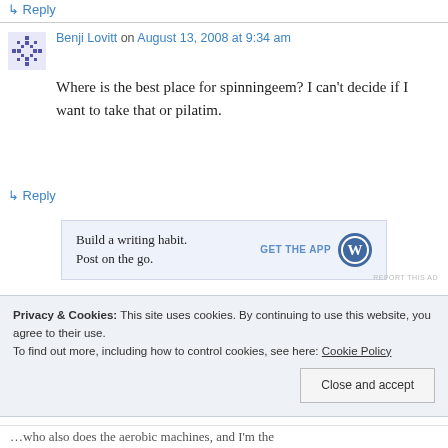↳ Reply
Benji Lovitt on August 13, 2008 at 9:34 am
Where is the best place for spinningeem? I can't decide if I want to take that or pilatim.
↳ Reply
[Figure (other): WordPress app advertisement banner: 'Build a writing habit. Post on the go.' with GET THE APP button and WordPress logo]
REPORT THIS AD
Privacy & Cookies: This site uses cookies. By continuing to use this website, you agree to their use.
To find out more, including how to control cookies, see here: Cookie Policy
Close and accept
…who also does the aerobic machines, and I'm the